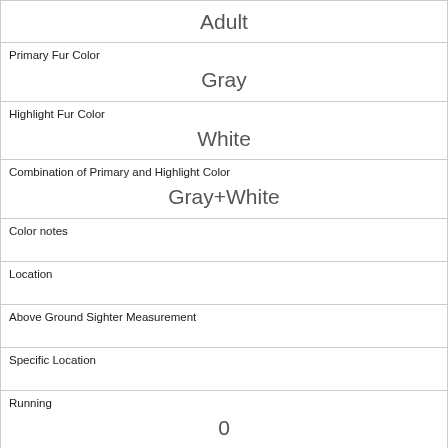| Adult |
| Primary Fur Color | Gray |
| Highlight Fur Color | White |
| Combination of Primary and Highlight Color | Gray+White |
| Color notes |  |
| Location |  |
| Above Ground Sighter Measurement |  |
| Specific Location |  |
| Running | 0 |
| Chasing | 0 |
| Climbing |  |